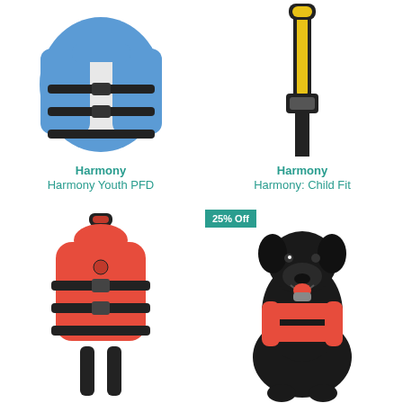[Figure (photo): Blue youth PFD life jacket with black straps]
Harmony
Harmony Youth PFD
$20.00
[Figure (photo): Yellow and black handle strap, child fit PFD accessory]
Harmony
Harmony: Child Fit
$20.00
[Figure (photo): Orange infant/toddler PFD life jacket with black straps and leg loops]
Harmony
Harmony Infant PFD
[Figure (photo): Black labrador dog wearing red NRS dog PFD life jacket]
25% Off
NRS
CFD Dog Life Jacket